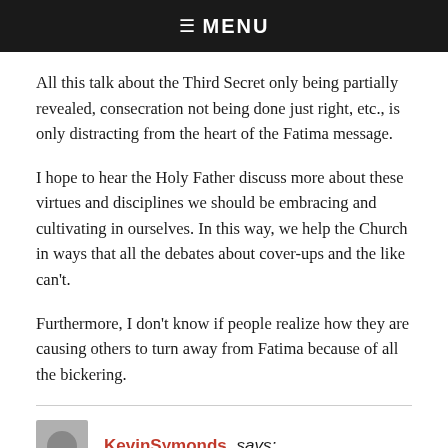☰ MENU
All this talk about the Third Secret only being partially revealed, consecration not being done just right, etc., is only distracting from the heart of the Fatima message.
I hope to hear the Holy Father discuss more about these virtues and disciplines we should be embracing and cultivating in ourselves. In this way, we help the Church in ways that all the debates about cover-ups and the like can't.
Furthermore, I don't know if people realize how they are causing others to turn away from Fatima because of all the bickering.
KevinSymonds says: